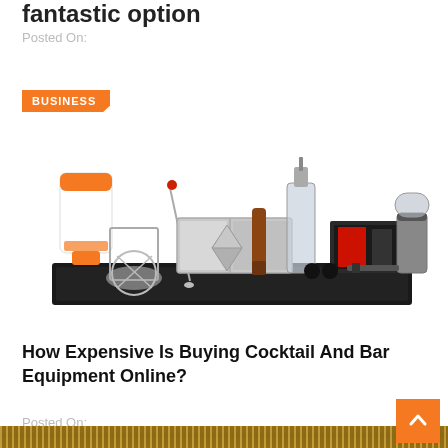fantastic option
Posted On:
BUSINESS
[Figure (photo): A collection of cocktail and bar equipment including a shaker, jigger, mixing spoon, bar mats, strainer, bottles, and other tools arranged on a black bar mat.]
How Expensive Is Buying Cocktail And Bar Equipment Online?
Posted On:
SERVICE